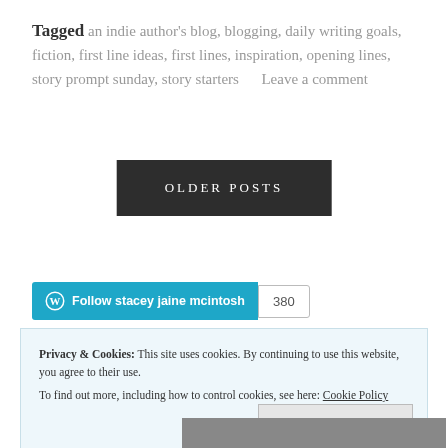Tagged an indie author's blog, blogging, daily writing goals, fiction, first line ideas, first lines, inspiration, opening lines, story prompt sunday, story starters      Leave a comment
[Figure (other): OLDER POSTS navigation button — dark background with white uppercase text]
[Figure (other): Follow stacey jaine mcintosh WordPress follow button with count badge showing 380]
Privacy & Cookies: This site uses cookies. By continuing to use this website, you agree to their use. To find out more, including how to control cookies, see here: Cookie Policy
[Figure (other): Close and accept button in grey box]